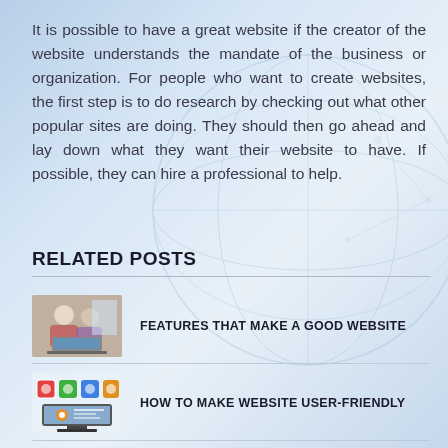It is possible to have a great website if the creator of the website understands the mandate of the business or organization. For people who want to create websites, the first step is to do research by checking out what other popular sites are doing. They should then go ahead and lay down what they want their website to have. If possible, they can hire a professional to help.
RELATED POSTS
[Figure (photo): Thumbnail image of two people looking at a laptop, for 'Features That Make a Good Website' post]
FEATURES THAT MAKE A GOOD WEBSITE
[Figure (photo): Thumbnail image of colorful website/app icons on a screen, for 'How to Make Website User-Friendly' post]
HOW TO MAKE WEBSITE USER-FRIENDLY
[Figure (photo): Thumbnail image of a person using a tablet/phone, for 'Guide on Creating a Great Website' post]
GUIDE ON CREATING A GREAT WEBSITE